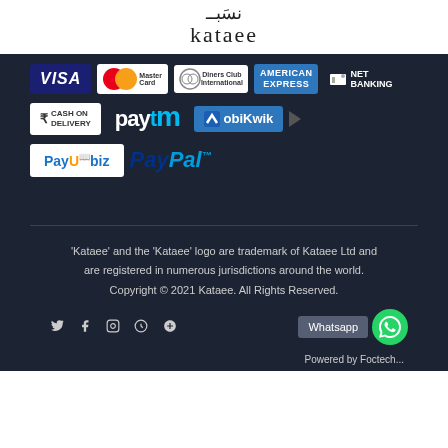[Figure (logo): Arabic text logo above kataee wordmark]
[Figure (logo): Payment options logos: VISA, MasterCard, Diners Club International, American Express, Net Banking, Cash on Delivery, Paytm, MobiKwik, PayUbiz, PayPal]
'Kataee' and the 'Kataee' logo are trademark of Kataee Ltd and are registered in numerous jurisdictions around the world.
Copyright © 2021 Kataee. All Rights Reserved.
Whatsapp
Powered by Foctech...